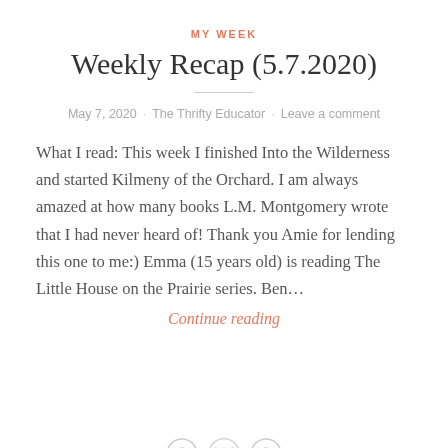MY WEEK
Weekly Recap (5.7.2020)
May 7, 2020 · The Thrifty Educator · Leave a comment
What I read: This week I finished Into the Wilderness and started Kilmeny of the Orchard. I am always amazed at how many books L.M. Montgomery wrote that I had never heard of! Thank you Amie for lending this one to me:) Emma (15 years old) is reading The Little House on the Prairie series. Ben…
Continue reading